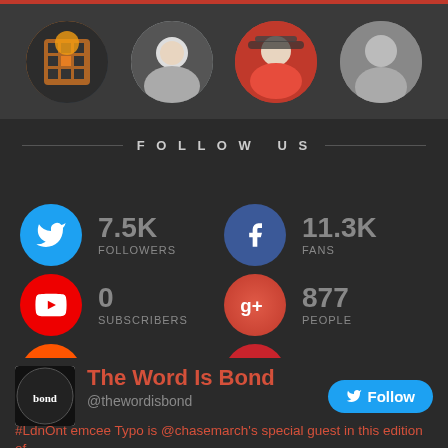[Figure (photo): Four circular profile photos of social media followers at the top of the page]
FOLLOW US
[Figure (infographic): Social media follower counts: Twitter 7.5K Followers, Facebook 11.3K Fans, YouTube 0 Subscribers, Google+ 877 People, SoundCloud 0 Followers, Pinterest 562 Followers]
The Word Is Bond
@thewordisbond
#LdnOnt emcee Typo is @chasemarch's special guest in this edition of